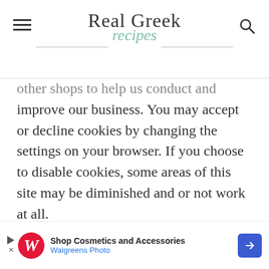Real Greek recipes
other shops to help us conduct and improve our business. You may accept or decline cookies by changing the settings on your browser. If you choose to disable cookies, some areas of this site may be diminished and or not work at all.

If you leave a comment on our site you may opt-in to saving your name, email address and website in cookies. These are for your convenience so that you do not have to fill in you
[Figure (screenshot): Walgreens Photo advertisement banner: Shop Cosmetics and Accessories]